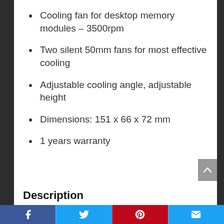Cooling fan for desktop memory modules – 3500rpm
Two silent 50mm fans for most effective cooling
Adjustable cooling angle, adjustable height
Dimensions: 151 x 66 x 72 mm
1 years warranty
Description